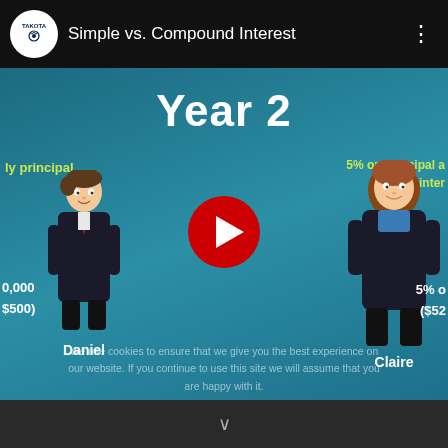TAKOTA — Simple vs. Compound Interest
Year 2
ly principal
5% on principal a inter
[Figure (screenshot): Cartoon illustration of Daniel — a male animated figure in a black suit standing on the left side of the video frame.]
[Figure (screenshot): Cartoon illustration of Claire — a female animated figure in a black suit with blue blouse standing on the right side of the video frame.]
0,000
$500)
5% o
($52
We use cookies to ensure that we give you the best experience on our website. If you continue to use this site we will assume that you are happy with it.
Daniel
Claire